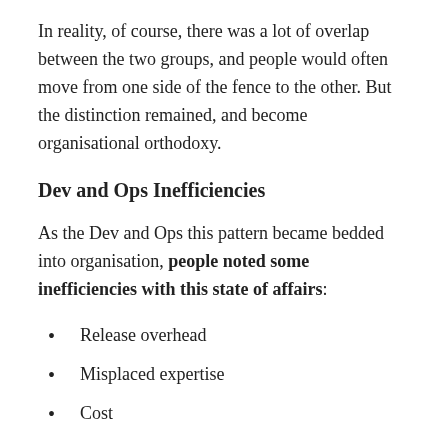In reality, of course, there was a lot of overlap between the two groups, and people would often move from one side of the fence to the other. But the distinction remained, and become organisational orthodoxy.
Dev and Ops Inefficiencies
As the Dev and Ops this pattern became bedded into organisation, people noted some inefficiencies with this state of affairs:
Release overhead
Misplaced expertise
Cost
First, there was a release overhead as Dev teams